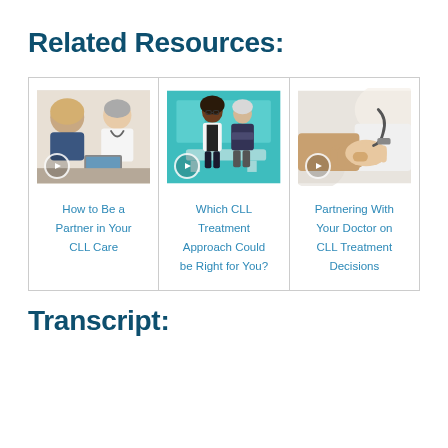Related Resources:
[Figure (photo): Three resource cards in a bordered grid. Card 1: photo of a patient consulting with a doctor, with a play button icon overlay. Card 2: animated illustration of a doctor and patient in a teal clinical setting, with a play button icon overlay. Card 3: photo of a doctor and patient shaking hands, with a play button icon overlay.]
How to Be a Partner in Your CLL Care
Which CLL Treatment Approach Could be Right for You?
Partnering With Your Doctor on CLL Treatment Decisions
Transcript: